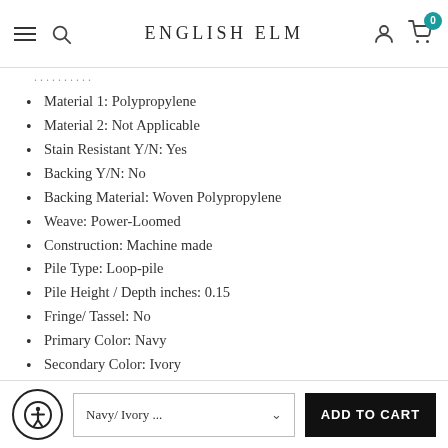ENGLISH ELM
Material 1: Polypropylene
Material 2: Not Applicable
Stain Resistant Y/N: Yes
Backing Y/N: No
Backing Material: Woven Polypropylene
Weave: Power-Loomed
Construction: Machine made
Pile Type: Loop-pile
Pile Height / Depth inches: 0.15
Fringe/ Tassel: No
Primary Color: Navy
Secondary Color: Ivory
Color Combination: Navy/ Ivory
Style Primary: Moroccan
Style 2: Casual
Navy/ Ivory ...  ADD TO CART